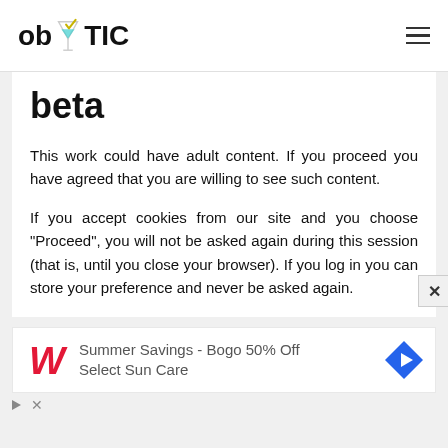ob TIC (logo with cocktail glass icon and hamburger menu)
beta
This work could have adult content. If you proceed you have agreed that you are willing to see such content.
If you accept cookies from our site and you choose "Proceed", you will not be asked again during this session (that is, until you close your browser). If you log in you can store your preference and never be asked again.
[Figure (infographic): Advertisement banner: Walgreens logo, text 'Summer Savings - Bogo 50% Off Select Sun Care', blue navigation icon on right, ad play/close controls below]